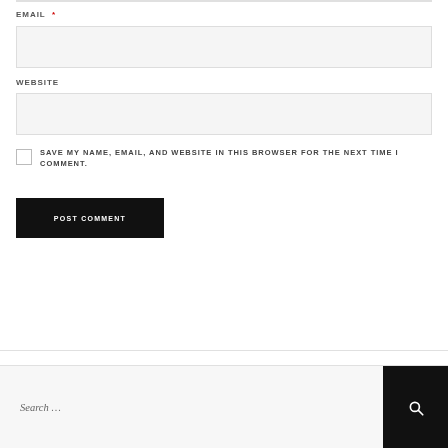EMAIL *
WEBSITE
SAVE MY NAME, EMAIL, AND WEBSITE IN THIS BROWSER FOR THE NEXT TIME I COMMENT.
POST COMMENT
Search …